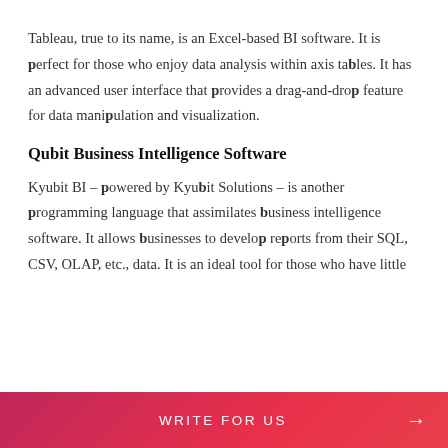Tableau, true to its name, is an Excel-based BI software. It is perfect for those who enjoy data analysis within axis tables. It has an advanced user interface that provides a drag-and-drop feature for data manipulation and visualization.
Qubit Business Intelligence Software
Kyubit BI – powered by Kyubit Solutions – is another programming language that assimilates business intelligence software. It allows businesses to develop reports from their SQL, CSV, OLAP, etc., data. It is an ideal tool for those who have little
WRITE FOR US →